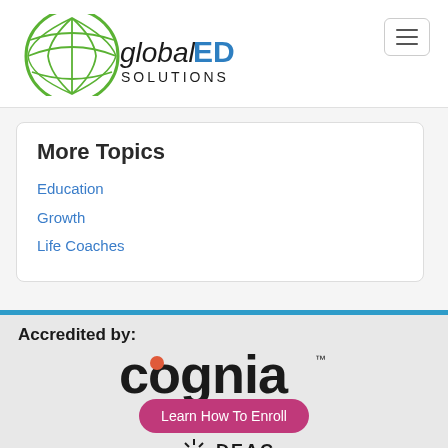[Figure (logo): Global ED Solutions logo with green globe and black/blue text]
More Topics
Education
Growth
Life Coaches
Accredited by:
[Figure (logo): Cognia accreditation logo]
[Figure (logo): Learn How To Enroll button / DEAC logo]